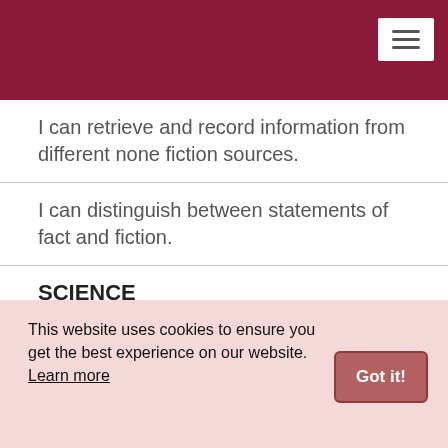I can retrieve and record information from different none fiction sources.
I can distinguish between statements of fact and fiction.
SCIENCE
-
I can explain about reproduction and offspring (recognising that offspring normally vary and are not identical to their parents).
This website uses cookies to ensure you get the best experience on our website. Learn more
advantages and disadvantages.